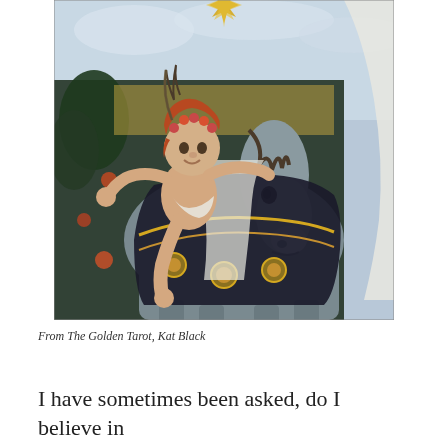[Figure (illustration): A medieval-style painting showing a naked child with reddish hair and a flower crown riding a gray horse adorned with gold medallions and dark decorative cloth. The background shows a garden with orange flowers, a sky with clouds, and a golden sunburst at the top. A white figure is partially visible on the right edge.]
From The Golden Tarot, Kat Black
I have sometimes been asked, do I believe in